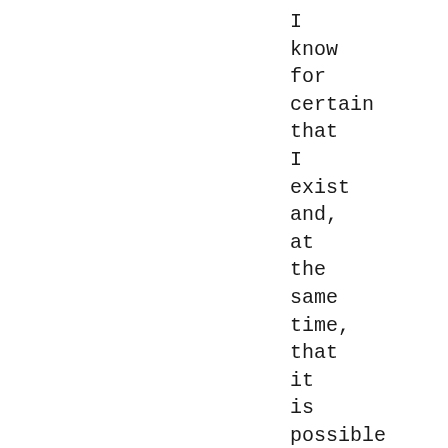I
know
for
certain
that
I
exist
and,
at
the
same
time,
that
it
is
possible
for
all
those
images
and,